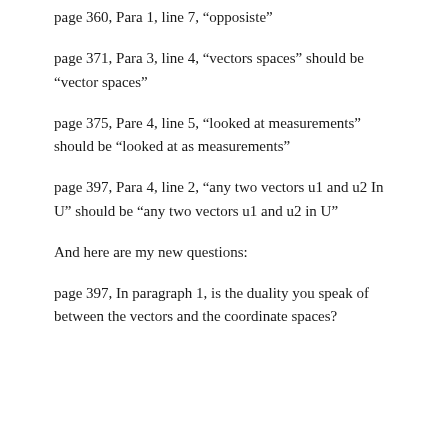page 360, Para 1, line 7, “opposiste”
page 371, Para 3, line 4, “vectors spaces” should be “vector spaces”
page 375, Pare 4, line 5, “looked at measurements” should be “looked at as measurements”
page 397, Para 4, line 2, “any two vectors u1 and u2 In U” should be “any two vectors u1 and u2 in U”
And here are my new questions:
page 397, In paragraph 1, is the duality you speak of between the vectors and the coordinate spaces?